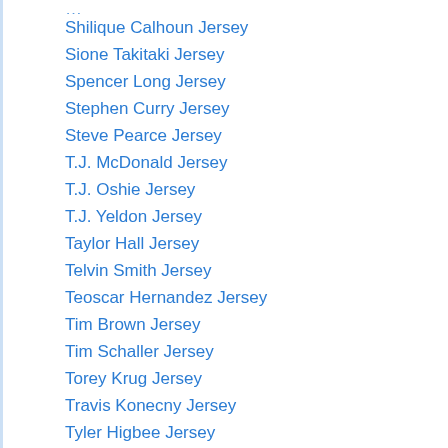Shilique Calhoun Jersey
Sione Takitaki Jersey
Spencer Long Jersey
Stephen Curry Jersey
Steve Pearce Jersey
T.J. McDonald Jersey
T.J. Oshie Jersey
T.J. Yeldon Jersey
Taylor Hall Jersey
Telvin Smith Jersey
Teoscar Hernandez Jersey
Tim Brown Jersey
Tim Schaller Jersey
Torey Krug Jersey
Travis Konecny Jersey
Tyler Higbee Jersey
Tyler Lockett Jersey